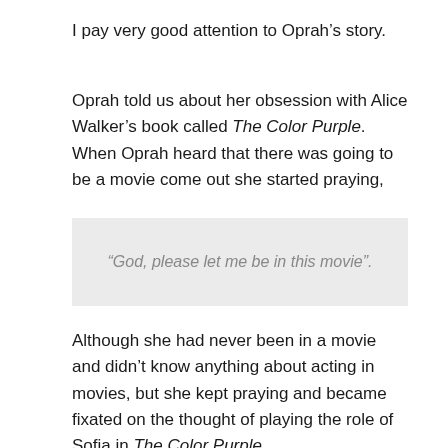I pay very good attention to Oprah’s story.
Oprah told us about her obsession with Alice Walker’s book called The Color Purple. When Oprah heard that there was going to be a movie come out she started praying,
“God, please let me be in this movie”.
Although she had never been in a movie and didn’t know anything about acting in movies, but she kept praying and became fixated on the thought of playing the role of Sofia in The Color Purple.